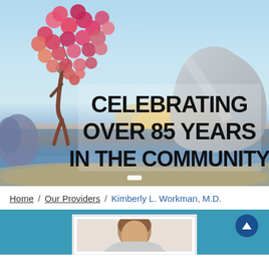[Figure (photo): Hero banner image showing a beach scene with a silhouette of a person holding heart-shaped balloons, with a large rock formation in the background. Bold text overlay reads 'CELEBRATING OVER 85 YEARS IN THE COMMUNITY'. A white slide indicator bar is visible at the bottom.]
Home / Our Providers / Kimberly L. Workman, M.D.
[Figure (photo): Bottom section showing a teal/blue background with a white-framed photo area of a provider (Kimberly L. Workman, M.D.) and a blue circular up-arrow button in the top right.]